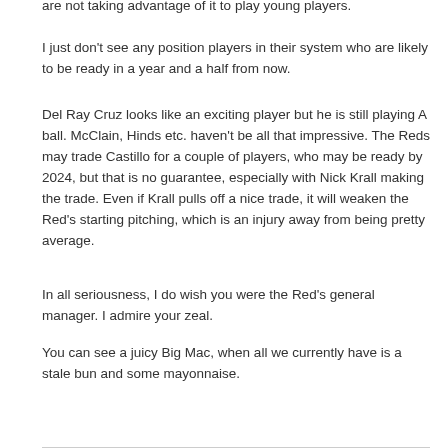are not taking advantage of it to play young players.
I just don't see any position players in their system who are likely to be ready in a year and a half from now.
Del Ray Cruz looks like an exciting player but he is still playing A ball. McClain, Hinds etc. haven't be all that impressive. The Reds may trade Castillo for a couple of players, who may be ready by 2024, but that is no guarantee, especially with Nick Krall making the trade. Even if Krall pulls off a nice trade, it will weaken the Red's starting pitching, which is an injury away from being pretty average.
In all seriousness, I do wish you were the Red's general manager. I admire your zeal.
You can see a juicy Big Mac, when all we currently have is a stale bun and some mayonnaise.